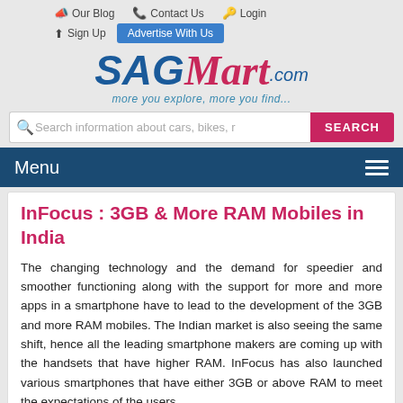Our Blog  Contact Us  Login  Sign Up  Advertise With Us
[Figure (logo): SAGMart.com logo with tagline 'more you explore, more you find...']
Search information about cars, bikes, r
Menu
InFocus : 3GB & More RAM Mobiles in India
The changing technology and the demand for speedier and smoother functioning along with the support for more and more apps in a smartphone have to lead to the development of the 3GB and more RAM mobiles. The Indian market is also seeing the same shift, hence all the leading smartphone makers are coming up with the handsets that have higher RAM. InFocus has also launched various smartphones that have either 3GB or above RAM to meet the expectations of the users.